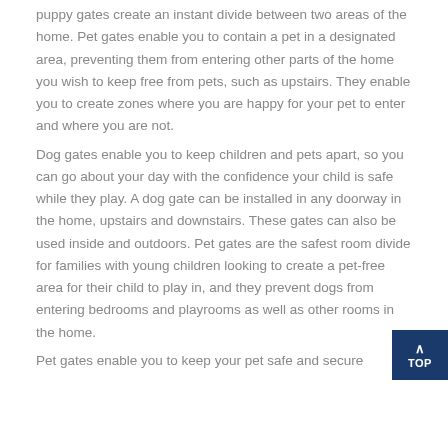puppy gates create an instant divide between two areas of the home. Pet gates enable you to contain a pet in a designated area, preventing them from entering other parts of the home you wish to keep free from pets, such as upstairs. They enable you to create zones where you are happy for your pet to enter and where you are not.
Dog gates enable you to keep children and pets apart, so you can go about your day with the confidence your child is safe while they play. A dog gate can be installed in any doorway in the home, upstairs and downstairs. These gates can also be used inside and outdoors. Pet gates are the safest room divide for families with young children looking to create a pet-free area for their child to play in, and they prevent dogs from entering bedrooms and playrooms as well as other rooms in the home.
Pet gates enable you to keep your pet safe and secure...